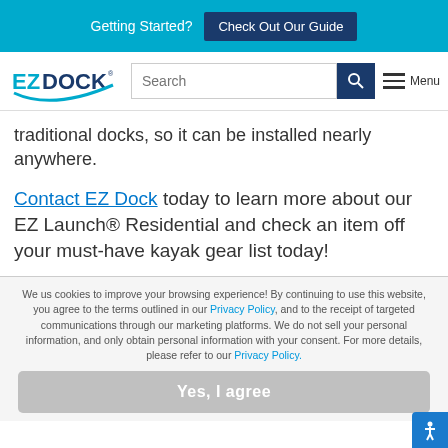Getting Started? Check Out Our Guide
[Figure (logo): EZ Dock logo with blue swoosh]
traditional docks, so it can be installed nearly anywhere.
Contact EZ Dock today to learn more about our EZ Launch® Residential and check an item off your must-have kayak gear list today!
We us cookies to improve your browsing experience! By continuing to use this website, you agree to the terms outlined in our Privacy Policy, and to the receipt of targeted communications through our marketing platforms. We do not sell your personal information, and only obtain personal information with your consent. For more details, please refer to our Privacy Policy.
Yes, I agree